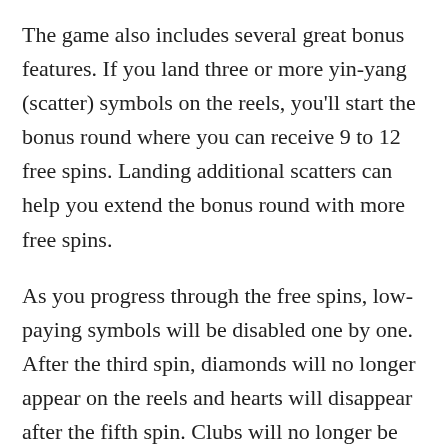The game also includes several great bonus features. If you land three or more yin-yang (scatter) symbols on the reels, you'll start the bonus round where you can receive 9 to 12 free spins. Landing additional scatters can help you extend the bonus round with more free spins.
As you progress through the free spins, low-paying symbols will be disabled one by one. After the third spin, diamonds will no longer appear on the reels and hearts will disappear after the fifth spin. Clubs will no longer be available after the seventh free spin, and you'll be able to play only with high-paying symbols from that point onwards, which